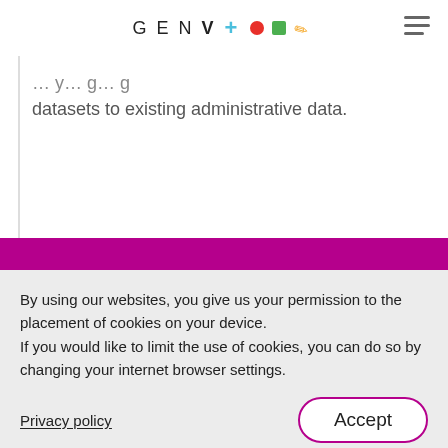GEN V + ● ■ / ≡
datasets to existing administrative data.
[Figure (screenshot): Purple banner with partial text 'We're so pleased to provide']
By using our websites, you give us your permission to the placement of cookies on your device. If you would like to limit the use of cookies, you can do so by changing your internet browser settings.
Privacy policy
Accept